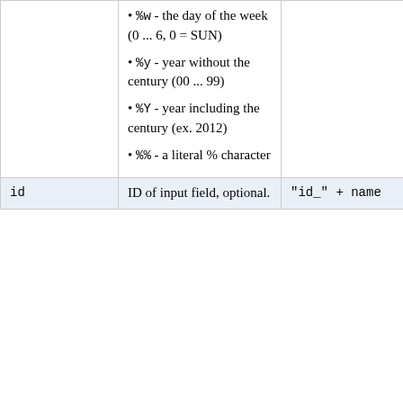| name | description | default | example |
| --- | --- | --- | --- |
| (continuation) | • %w - the day of the week (0 ... 6, 0 = SUN)
• %y - year without the century (00 ... 99)
• %Y - year including the century (ex. 2012)
• %% - a literal % character |  |  |
| id | ID of input field, optional. | "id_" + name | id="idS |